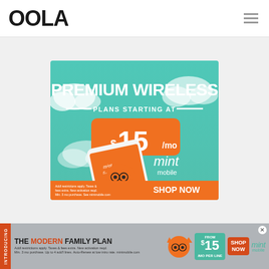OOLA
[Figure (illustration): Mint Mobile advertisement: teal sky/cloud background. Large white bold text 'PREMIUM WIRELESS', below '— PLANS STARTING AT —', then orange rounded rectangle with white text '$15/mo'. Mint Mobile logo in white. Phone with orange Mint Mobile mascot character. Orange footer strip with disclaimer text on left and 'SHOP NOW' on right.]
[Figure (illustration): Mint Mobile bottom banner ad: gray background. Orange vertical 'INTRODUCING' tab on left. 'THE MODERN FAMILY PLAN' text with Mint Mobile character. Green box showing '$15/MO FROM PER LINE'. Orange 'SHOP NOW' box. Mint Mobile logo. X close button.]